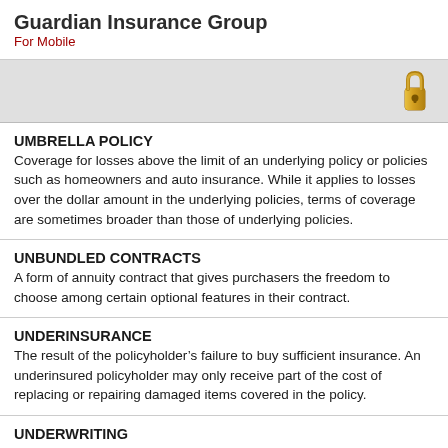Guardian Insurance Group
For Mobile
[Figure (illustration): Gray bar with a gold padlock icon in the top-right corner]
UMBRELLA POLICY
Coverage for losses above the limit of an underlying policy or policies such as homeowners and auto insurance. While it applies to losses over the dollar amount in the underlying policies, terms of coverage are sometimes broader than those of underlying policies.
UNBUNDLED CONTRACTS
A form of annuity contract that gives purchasers the freedom to choose among certain optional features in their contract.
UNDERINSURANCE
The result of the policyholder’s failure to buy sufficient insurance. An underinsured policyholder may only receive part of the cost of replacing or repairing damaged items covered in the policy.
UNDERWRITING
Examining, accepting, or rejecting insurance risks and classifying the ones that are accepted, in order to charge appropriate premiums for them.
UNDERWRITING INCOME